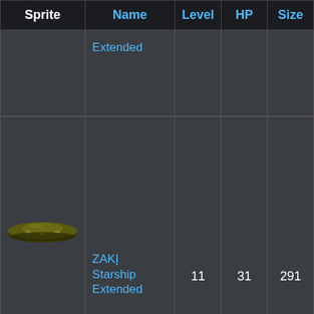| Sprite | Name | Level | HP | Size |
| --- | --- | --- | --- | --- |
| [sprite] | Extended |  |  |  |
| [zaki-sprite] | ZAKIฺ Starship Extended | 11 | 31 | 291 |
| [oumaumau-sprite] | Oumaumau Invader | 11 | 31 | 307 |